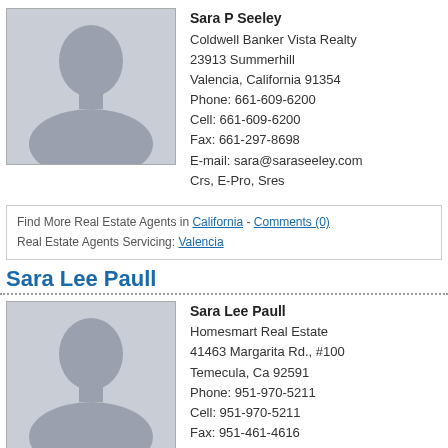[Figure (photo): Placeholder silhouette photo for Sara P Seeley]
Sara P Seeley
Coldwell Banker Vista Realty
23913 Summerhill
Valencia, California 91354
Phone: 661-609-6200
Cell: 661-609-6200
Fax: 661-297-8698
E-mail: sara@saraseeley.com
Crs, E-Pro, Sres
Find More Real Estate Agents in California - Comments (0)
Real Estate Agents Servicing: Valencia
Sara Lee Paull
[Figure (photo): Placeholder silhouette photo for Sara Lee Paull]
Sara Lee Paull
Homesmart Real Estate
41463 Margarita Rd., #100
Temecula, Ca 92591
Phone: 951-970-5211
Cell: 951-970-5211
Fax: 951-461-4616
E-mail: SaraLee@SaraLeePaull.com
Broker Associate, Crs, E-Pro, Sres